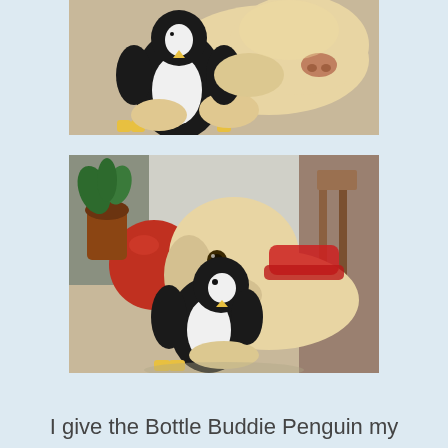[Figure (photo): Close-up photo of a yellow Labrador dog chewing on a black and white penguin stuffed toy with yellow feet, on a beige carpet.]
[Figure (photo): Photo of a yellow Labrador puppy wearing a red harness, lying on a beige carpet and holding a black and white penguin stuffed toy (Bottle Buddie Penguin). Background shows a red exercise ball, potted plant, and wooden furniture.]
I give the Bottle Buddie Penguin my